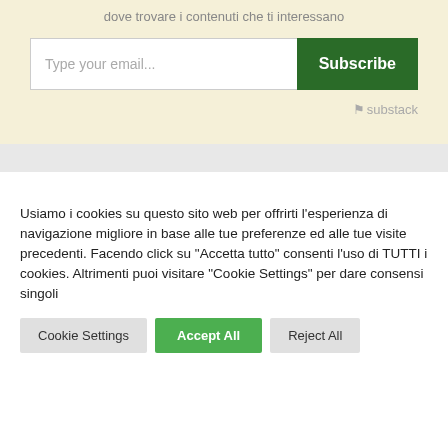dove trovare i contenuti che ti interessano
Type your email...
Subscribe
substack
Usiamo i cookies su questo sito web per offrirti l'esperienza di navigazione migliore in base alle tue preferenze ed alle tue visite precedenti. Facendo click su "Accetta tutto" consenti l'uso di TUTTI i cookies. Altrimenti puoi visitare "Cookie Settings" per dare consensi singoli
Cookie Settings
Accept All
Reject All